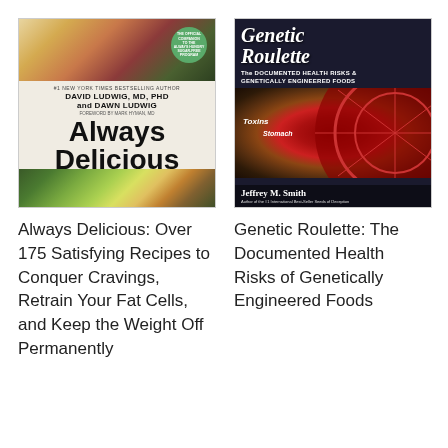[Figure (photo): Book cover of 'Always Delicious: Over 175 Satisfying Recipes to Conquer Cravings, Retrain Your Fat Cells, and Keep the Weight Off Permanently' by David Ludwig, MD, PhD and Dawn Ludwig. Features colorful food photography with produce on top and bottom, author names, and a green circular badge.]
[Figure (photo): Book cover of 'Genetic Roulette: The Documented Health Risks of Genetically Engineered Foods' by Jeffrey M. Smith. Features a roulette wheel image with words like Toxins, Stomach Lesions, Allergies, Organ Damage, Sterility overlaid on a dark background.]
Always Delicious: Over 175 Satisfying Recipes to Conquer Cravings, Retrain Your Fat Cells, and Keep the Weight Off Permanently
Genetic Roulette: The Documented Health Risks of Genetically Engineered Foods